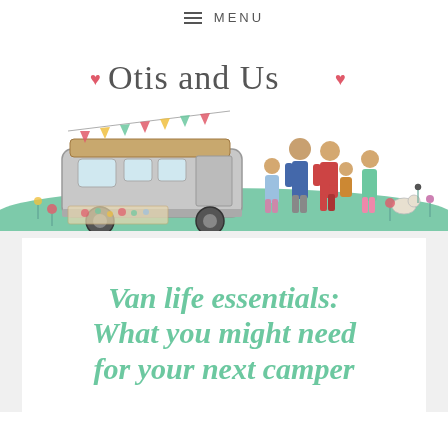≡ MENU
[Figure (illustration): Otis and Us blog logo: hand-drawn illustration of a VW camper van with bunting on a green grassy hill, a family of five standing beside it with flowers, and the text '♥ Otis and Us ♥' in a handwritten style above.]
Van life essentials: What you might need for your next camper